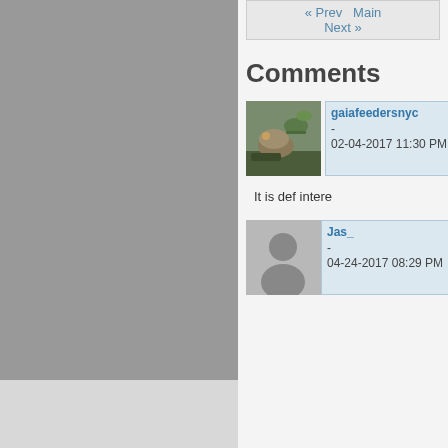« Prev   Main
Next »
Comments
gaiafeedersnyc - 02-04-2017 11:30 PM
[Figure (photo): Avatar image of a bearded dragon lizard in a plant environment]
It is def intere
Jas_ - 04-24-2017 08:29 PM
[Figure (photo): Default avatar placeholder with silhouette of a person]